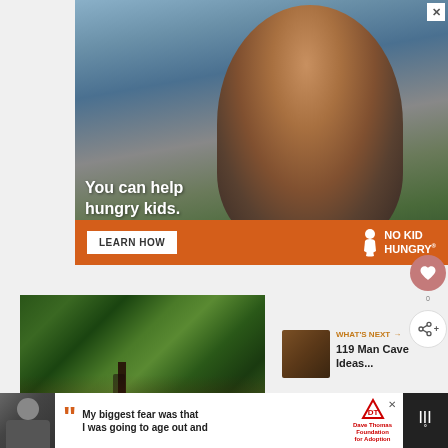[Figure (photo): Advertisement for No Kid Hungry charity showing a young boy eating food in a classroom with text 'You can help hungry kids.' and a 'LEARN HOW' button and NO KID HUNGRY logo on an orange background bar]
[Figure (photo): Photo of a lush green garden/patio area with trees, plants, flowers, outdoor furniture, and a wine bottle]
WHAT'S NEXT → 119 Man Cave Ideas...
[Figure (photo): Bottom advertisement banner for Dave Thomas Foundation for Adoption showing a person with quote text 'My biggest fear was that I was going to age out and']